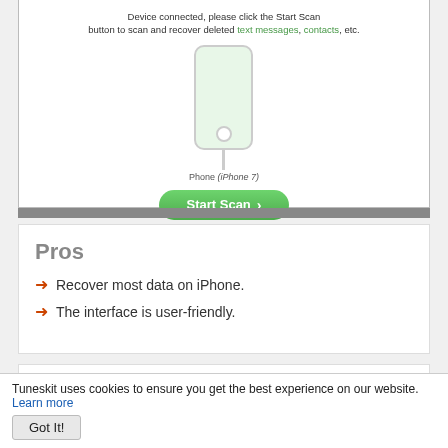[Figure (screenshot): Software screenshot showing a device connected message with iPhone illustration and Start Scan button. Text reads: 'Device connected, please click the Start Scan button to scan and recover deleted text messages, contacts, etc.' Shows an iPhone 7 graphic and a green Start Scan button.]
Pros
Recover most data on iPhone.
The interface is user-friendly.
Cons
Restores less file types than other recovery tools
Tuneskit uses cookies to ensure you get the best experience on our website. Learn more